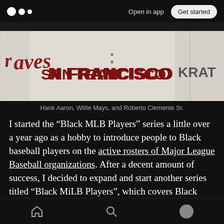Open in app  Get started
[Figure (photo): Close-up photo of baseball jerseys showing text: braves, San Francisco, and partially visible text RAT — worn by Hank Aaron, Willie Mays, and Roberto Clemente Sr.]
Hank Aaron, Willie Mays, and Roberto Clemente Sr.
I started the “Black MLB Players” series a little over a year ago as a hobby to introduce people to Black baseball players on the active rosters of Major League Baseball organizations. After a decent amount of success, I decided to expand and start another series titled “Black MiLB Players”, which covers Black baseball players
Home  Search  Profile